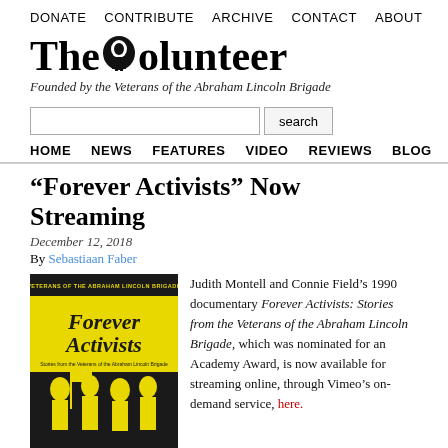DONATE  CONTRIBUTE  ARCHIVE  CONTACT  ABOUT
[Figure (logo): The Volunteer logo with stylized text and circular emblem]
Founded by the Veterans of the Abraham Lincoln Brigade
search input and button
HOME  NEWS  FEATURES  VIDEO  REVIEWS  BLOG  AUTHORS
“Forever Activists” Now Streaming
December 12, 2018
By Sebastiaan Faber
[Figure (photo): Book/poster cover for Forever Activists: Stories from the Veterans of the Abraham Lincoln Brigade, yellow and black design with text and image of marching people, Bay Area Post - VALB]
Judith Montell and Connie Field’s 1990 documentary Forever Activists: Stories from the Veterans of the Abraham Lincoln Brigade, which was nominated for an Academy Award, is now available for streaming online, through Vimeo’s on-demand service, here.